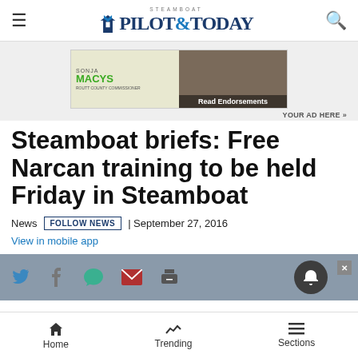Steamboat PILOT & TODAY
[Figure (photo): Sonja Macys for Routt County Commissioner ad banner with Read Endorsements and photos of endorsers]
YOUR AD HERE »
Steamboat briefs: Free Narcan training to be held Friday in Steamboat
News  FOLLOW NEWS  | September 27, 2016
View in mobile app
[Figure (screenshot): Social sharing bar with Twitter, Facebook, comment, email, and print icons, plus notification bell button]
Home  Trending  Sections